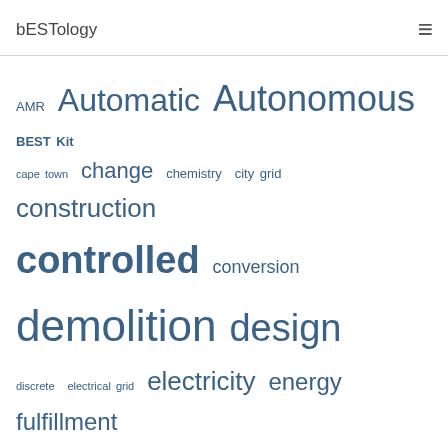bESTology
[Figure (infographic): Tag cloud showing various topics: AMR, Automatic, Autonomous, BEST Kit, cape town, change, chemistry, city grid, construction, controlled, conversion, demolition, design, discrete, electrical grid, electricity, energy, fulfillment, function, gyre, gyroscopes, human body systems, human interaction, hybrid, landfills, mapping, materials, methods, modernize, natural resources, navigation, NOAA, non-renewable, orientation, OSHA, quality, recycle, renewable, resources, restrictions, safety, sensors]